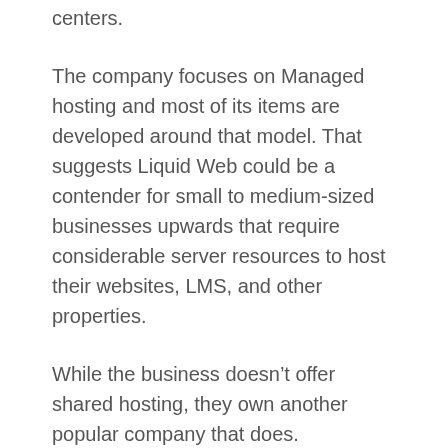centers.
The company focuses on Managed hosting and most of its items are developed around that model. That suggests Liquid Web could be a contender for small to medium-sized businesses upwards that require considerable server resources to host their websites, LMS, and other properties.
While the business doesn’t offer shared hosting, they own another popular company that does.
As pointed out above, Liquid Web is for higher-tier customers with more demanding requirements. They don’t use shared hosting plans for individuals or hobbyists.